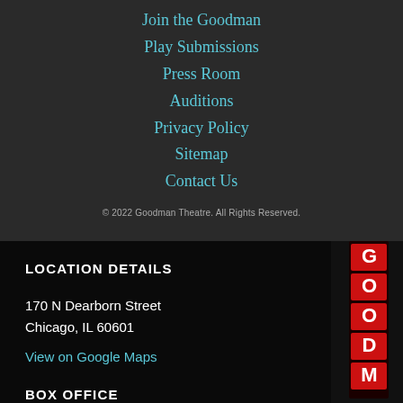Join the Goodman
Play Submissions
Press Room
Auditions
Privacy Policy
Sitemap
Contact Us
© 2022 Goodman Theatre. All Rights Reserved.
LOCATION DETAILS
170 N Dearborn Street
Chicago, IL 60601
View on Google Maps
[Figure (photo): Goodman Theatre vertical neon sign showing letters G O O D M in red, photographed at night]
BOX OFFICE